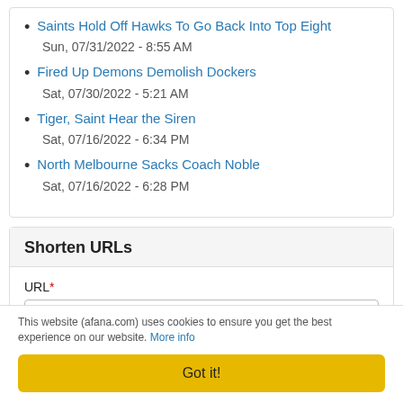Saints Hold Off Hawks To Go Back Into Top Eight
Sun, 07/31/2022 - 8:55 AM
Fired Up Demons Demolish Dockers
Sat, 07/30/2022 - 5:21 AM
Tiger, Saint Hear the Siren
Sat, 07/16/2022 - 6:34 PM
North Melbourne Sacks Coach Noble
Sat, 07/16/2022 - 6:28 PM
Shorten URLs
URL*
This website (afana.com) uses cookies to ensure you get the best experience on our website. More info
Got it!